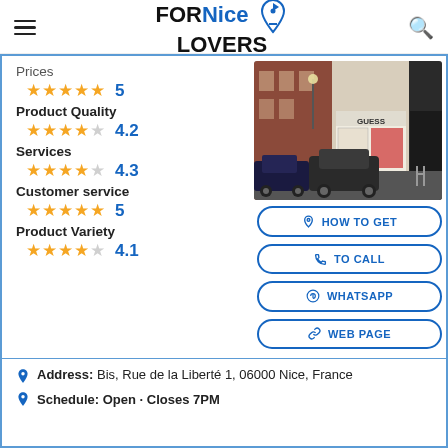FOR Nice LOVERS
Prices
★★★★★ 5
Product Quality
★★★★☆ 4.2
Services
★★★★☆ 4.3
Customer service
★★★★★ 5
Product Variety
★★★★☆ 4.1
[Figure (photo): Street view of a GUESS store on a city street with cars parked outside]
HOW TO GET
TO CALL
WHATSAPP
WEB PAGE
Address: Bis, Rue de la Liberté 1, 06000 Nice, France
Schedule: Open · Closes 7PM